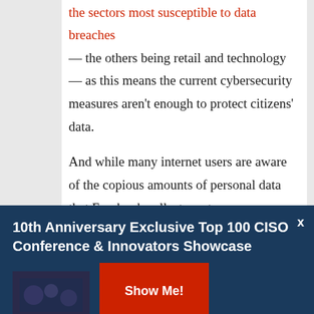the sectors most susceptible to data breaches — the others being retail and technology — as this means the current cybersecurity measures aren't enough to protect citizens' data.

And while many internet users are aware of the copious amounts of personal data that Facebook collects, not many may know that the government possesses even more. On top of storing citizens' personal identification information, education history, and medical records, the government also has access to all the personal data that Facebook and other tech
[Figure (infographic): Dark blue banner advertisement: '10th Anniversary Exclusive Top 100 CISO Conference & Innovators Showcase' with a 'Show Me!' red button and a close X button. Includes a dark image thumbnail on the left.]